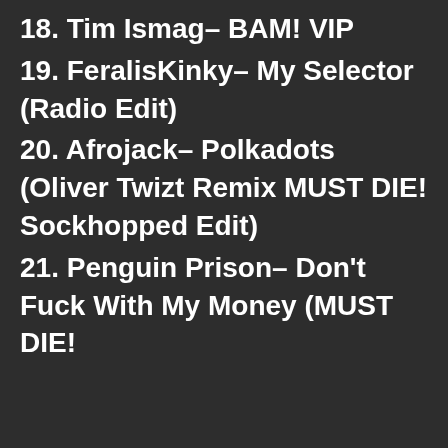18. Tim Ismag– BAM! VIP
19. FeralisKinky– My Selector (Radio Edit)
20. Afrojack– Polkadots (Oliver Twizt Remix MUST DIE! Sockhopped Edit)
21. Penguin Prison– Don't Fuck With My Money (MUST DIE!